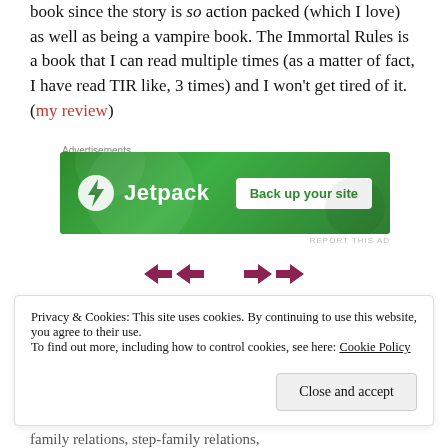book since the story is so action packed (which I love) as well as being a vampire book. The Immortal Rules is a book that I can read multiple times (as a matter of fact, I have read TIR like, 3 times) and I won't get tired of it. (my review)
Advertisements
[Figure (screenshot): Jetpack advertisement banner with green background, Jetpack logo on left, and 'Back up your site' button on right]
[Figure (illustration): Decorative double-headed arrows in dark pink/maroon color, two arrows pointing right and two pointing left]
My Life Next Door by Huntley Fitzpatrick
Privacy & Cookies: This site uses cookies. By continuing to use this website, you agree to their use. To find out more, including how to control cookies, see here: Cookie Policy
family relations, step-family relations,